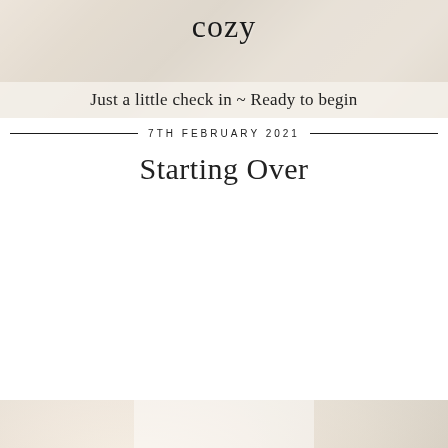[Figure (photo): Top lifestyle photo with cozy blankets, a candle/mug, and cursive script overlay, with a semi-transparent bar reading 'Just a little check in ~ Ready to begin']
Just a little check in ~ Ready to begin
7TH FEBRUARY 2021
Starting Over
[Figure (photo): Bottom lifestyle photo of cozy linens and textiles with large cursive 'Sunday' script overlaid on the image]